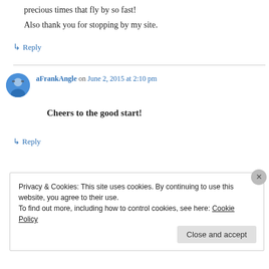precious times that fly by so fast!
Also thank you for stopping by my site.
↳ Reply
aFrankAngle on June 2, 2015 at 2:10 pm
Cheers to the good start!
↳ Reply
Privacy & Cookies: This site uses cookies. By continuing to use this website, you agree to their use.
To find out more, including how to control cookies, see here: Cookie Policy
Close and accept